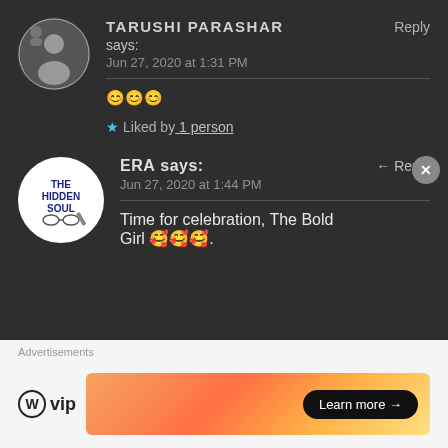[Figure (illustration): User avatar circle with person icon, dark background]
TARUSHI PARASHAR says: Jun 27, 2020 at 1:31 PM — 😊😊😊 — ★ Liked by 1 person — Reply
[Figure (logo): The Hidden Soul blog logo — circular white badge with text THE HIDDEN SOUL and pen/glasses illustration]
ERA says: Jun 27, 2020 at 1:44 PM — Time for celebration, The Bold Girl 🥰🥰🥰. — ← Reply
Advertisements
[Figure (logo): WordPress VIP logo]
[Figure (illustration): Orange gradient advertisement banner with Learn more → button]